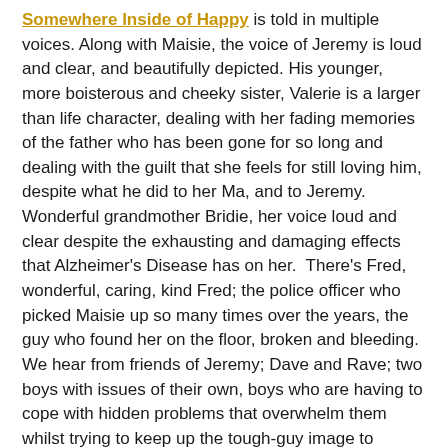Somewhere Inside of Happy is told in multiple voices. Along with Maisie, the voice of Jeremy is loud and clear, and beautifully depicted. His younger, more boisterous and cheeky sister, Valerie is a larger than life character, dealing with her fading memories of the father who has been gone for so long and dealing with the guilt that she feels for still loving him, despite what he did to her Ma, and to Jeremy. Wonderful grandmother Bridie, her voice loud and clear despite the exhausting and damaging effects that Alzheimer's Disease has on her.  There's Fred, wonderful, caring, kind Fred; the police officer who picked Maisie up so many times over the years, the guy who found her on the floor, broken and bleeding. We hear from friends of Jeremy; Dave and Rave; two boys with issues of their own, boys who are having to cope with hidden problems that overwhelm them whilst trying to keep up the tough-guy image to everyone around them.
When Jeremy goes missing, the absolute and utter